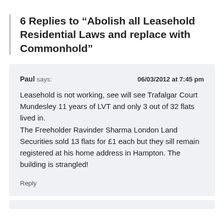6 Replies to “Abolish all Leasehold Residential Laws and replace with Commonhold”
Paul says: 06/03/2012 at 7:45 pm
Leasehold is not working, see will see Trafalgar Court Mundesley 11 years of LVT and only 3 out of 32 flats lived in.
The Freeholder Ravinder Sharma London Land Securities sold 13 flats for £1 each but they sill remain registered at his home address in Hampton. The building is strangled!
Reply